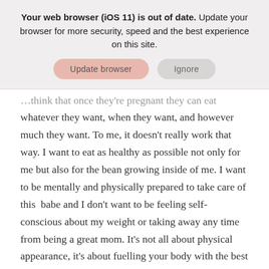[Figure (screenshot): Browser update banner with 'Update browser' and 'Ignore' buttons on a light grey background. Text reads: 'Your web browser (iOS 11) is out of date. Update your browser for more security, speed and the best experience on this site.']
…think that once they're pregnant they can eat whatever they want, when they want, and however much they want. To me, it doesn't really work that way. I want to eat as healthy as possible not only for me but also for the bean growing inside of me. I want to be mentally and physically prepared to take care of this  babe and I don't want to be feeling self-conscious about my weight or taking away any time from being a great mom. It's not all about physical appearance, it's about fuelling your body with the best nutrients that you possibly can … this is the most important time to be healthy.
When I have been feeling like I want to indulge and